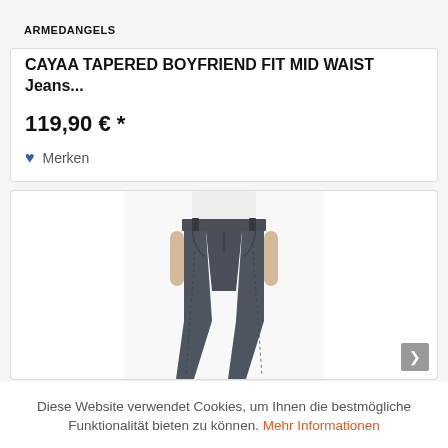ARMEDANGELS
CAYAA TAPERED BOYFRIEND FIT MID WAIST Jeans...
119,90 € *
Merken
[Figure (photo): A person wearing dark grey/blue tapered boyfriend fit jeans with a white top, shown from waist down to ankles.]
Diese Website verwendet Cookies, um Ihnen die bestmögliche Funktionalität bieten zu können. Mehr Informationen
Einverstanden